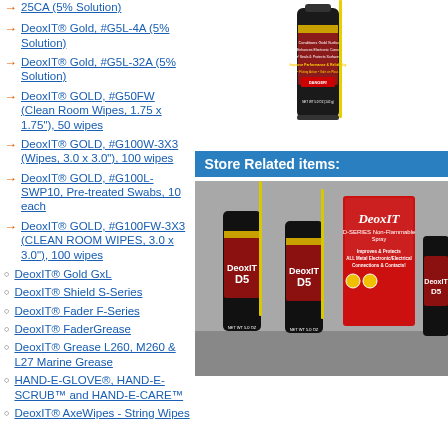DeoxIT® Gold, #G5L-4A (5% Solution)
DeoxIT® Gold, #G5L-32A (5% Solution)
DeoxIT® GOLD, #G50FW (Clean Room Wipes, 1.75 x 1.75"), 50 wipes
DeoxIT® GOLD, #G100W-3X3 (Wipes, 3.0 x 3.0"), 100 wipes
DeoxIT® GOLD, #G100L-SWP10, Pre-treated Swabs, 10 each
DeoxIT® GOLD, #G100FW-3X3 (CLEAN ROOM WIPES, 3.0 x 3.0"), 100 wipes
DeoxIT® Gold GxL
DeoxIT® Shield S-Series
DeoxIT® Fader F-Series
DeoxIT® FaderGrease
DeoxIT® Grease L260, M260 & L27 Marine Grease
HAND-E-GLOVE®, HAND-E-SCRUB™ and HAND-E-CARE™
DeoxIT® AxeWipes - String Wipes
[Figure (photo): DeoxIT Gold G5L spray can product image with yellow straw]
Store Related items:
[Figure (photo): Multiple DeoxIT D-Series product cans and spray bottles displayed together including D5 labeled cans]